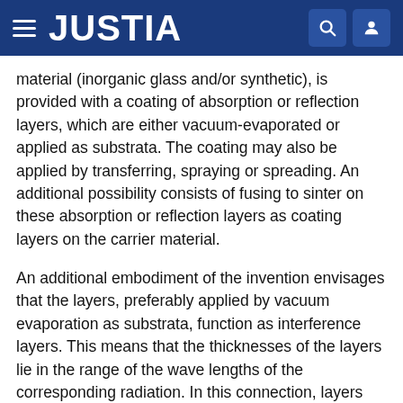JUSTIA
material (inorganic glass and/or synthetic), is provided with a coating of absorption or reflection layers, which are either vacuum-evaporated or applied as substrata. The coating may also be applied by transferring, spraying or spreading. An additional possibility consists of fusing to sinter on these absorption or reflection layers as coating layers on the carrier material.
An additional embodiment of the invention envisages that the layers, preferably applied by vacuum evaporation as substrata, function as interference layers. This means that the thicknesses of the layers lie in the range of the wave lengths of the corresponding radiation. In this connection, layers consisting of thorium oxide, titanium oxide and indium oxide prove to be particularly favorable.